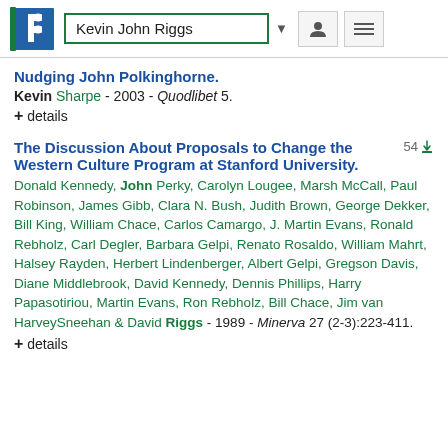Kevin John Riggs
Nudging John Polkinghorne.
Kevin Sharpe - 2003 - Quodlibet 5.
+ details
The Discussion About Proposals to Change the Western Culture Program at Stanford University.
Donald Kennedy, John Perky, Carolyn Lougee, Marsh McCall, Paul Robinson, James Gibb, Clara N. Bush, Judith Brown, George Dekker, Bill King, William Chace, Carlos Camargo, J. Martin Evans, Ronald Rebholz, Carl Degler, Barbara Gelpi, Renato Rosaldo, William Mahrt, Halsey Rayden, Herbert Lindenberger, Albert Gelpi, Gregson Davis, Diane Middlebrook, David Kennedy, Dennis Phillips, Harry Papasotiriou, Martin Evans, Ron Rebholz, Bill Chace, Jim van HarveySneehan & David Riggs - 1989 - Minerva 27 (2-3):223-411.
+ details